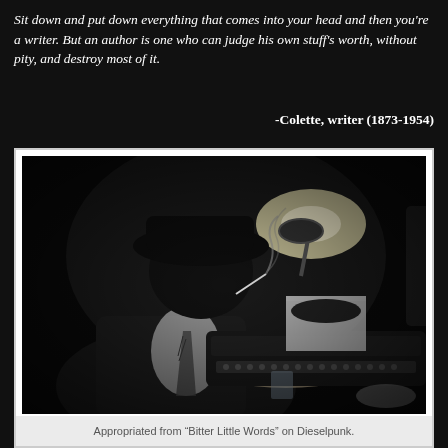Sit down and put down everything that comes into your head and then you're a writer. But an author is one who can judge his own stuff's worth, without pity, and destroy most of it.
-Colette, writer (1873-1954)
[Figure (photo): Black and white photograph of a man in a hat and tie, smoking a cigarette, typing on a vintage typewriter under a desk lamp in a dark, noir-style setting with an ashtray nearby.]
Appropriated from “Bitter Little Words” on Dieselpunk.